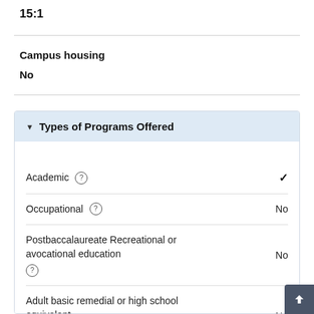15:1
Campus housing
No
Types of Programs Offered
| Program Type | Value |
| --- | --- |
| Academic | ✓ |
| Occupational | No |
| Postbaccalaureate Recreational or avocational education | No |
| Adult basic remedial or high school equivalent | No |